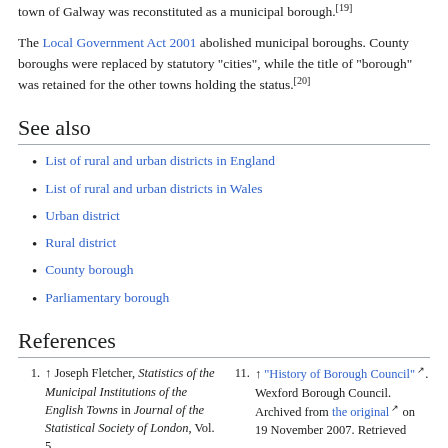town of Galway was reconstituted as a municipal borough.[19]
The Local Government Act 2001 abolished municipal boroughs. County boroughs were replaced by statutory "cities", while the title of "borough" was retained for the other towns holding the status.[20]
See also
List of rural and urban districts in England
List of rural and urban districts in Wales
Urban district
Rural district
County borough
Parliamentary borough
References
1. ↑ Joseph Fletcher, Statistics of the Municipal Institutions of the English Towns in Journal of the Statistical Society of London, Vol. 5,
11. ↑ "History of Borough Council". Wexford Borough Council. Archived from the original on 19 November 2007. Retrieved